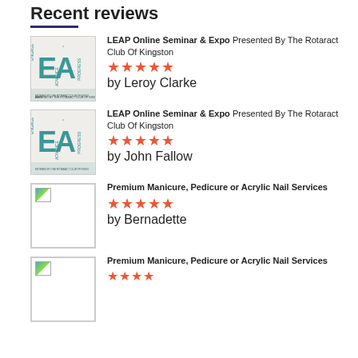Recent reviews
LEAP Online Seminar & Expo Presented By The Rotaract Club Of Kingston — ★★★★★ — by Leroy Clarke
LEAP Online Seminar & Expo Presented By The Rotaract Club Of Kingston — ★★★★★ — by John Fallow
Premium Manicure, Pedicure or Acrylic Nail Services — ★★★★★ — by Bernadette
Premium Manicure, Pedicure or Acrylic Nail Services — ★★★★ (partial)